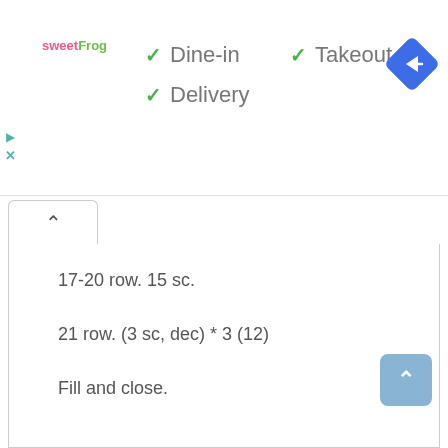[Figure (logo): sweetFrog logo]
✓ Dine-in
✓ Takeout
✓ Delivery
[Figure (other): Blue navigation/directions diamond icon]
17-20 row. 15 sc.
21 row. (3 sc, dec) * 3 (12)
Fill and close.